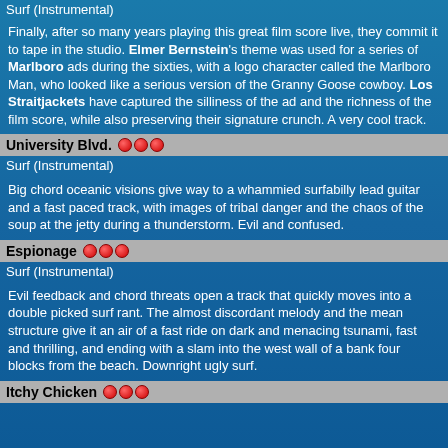Surf (Instrumental)
Finally, after so many years playing this great film score live, they commit it to tape in the studio. Elmer Bernstein's theme was used for a series of Marlboro ads during the sixties, with a logo character called the Marlboro Man, who looked like a serious version of the Granny Goose cowboy. Los Straitjackets have captured the silliness of the ad and the richness of the film score, while also preserving their signature crunch. A very cool track.
University Blvd. ●●●
Surf (Instrumental)
Big chord oceanic visions give way to a whammied surfabilly lead guitar and a fast paced track, with images of tribal danger and the chaos of the soup at the jetty during a thunderstorm. Evil and confused.
Espionage ●●●
Surf (Instrumental)
Evil feedback and chord threats open a track that quickly moves into a double picked surf rant. The almost discordant melody and the mean structure give it an air of a fast ride on dark and menacing tsunami, fast and thrilling, and ending with a slam into the west wall of a bank four blocks from the beach. Downright ugly surf.
Itchy Chicken ●●●